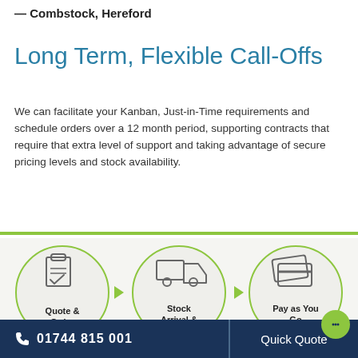— Combstock, Hereford
Long Term, Flexible Call-Offs
We can facilitate your Kanban, Just-in-Time requirements and schedule orders over a 12 month period, supporting contracts that require that extra level of support and taking advantage of secure pricing levels and stock availability.
[Figure (infographic): Three circular icons in a process flow connected by green arrows: (1) Quote & Order with clipboard icon, (2) Stock Arrival & Start with delivery truck icon, (3) Pay as You Go with payment card icon.]
01744 815 001   Quick Quote